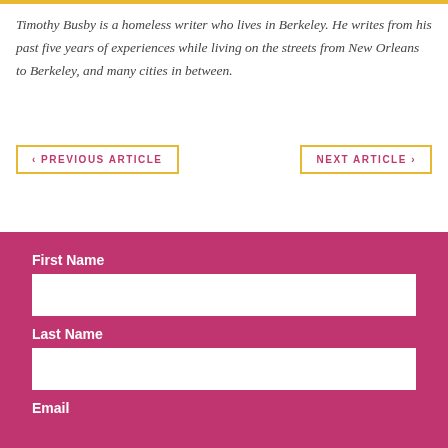Timothy Busby is a homeless writer who lives in Berkeley. He writes from his past five years of experiences while living on the streets from New Orleans to Berkeley, and many cities in between.
‹ PREVIOUS ARTICLE
NEXT ARTICLE ›
First Name
Last Name
Email